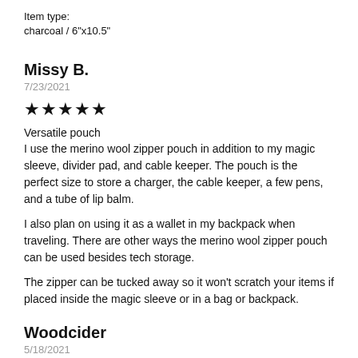Item type:
charcoal / 6"x10.5"
Missy B.
7/23/2021
[Figure (other): 5 filled star rating icons]
Versatile pouch
I use the merino wool zipper pouch in addition to my magic sleeve, divider pad, and cable keeper.  The pouch is the perfect size to store a charger, the cable keeper, a few pens, and a tube of lip balm.
I also plan on using it as a wallet in my backpack when traveling.  There are other ways the merino wool zipper pouch can be used besides tech storage.
The zipper can be tucked away so it won't scratch your items if placed inside the magic sleeve or in a bag or backpack.
Woodcider
5/18/2021